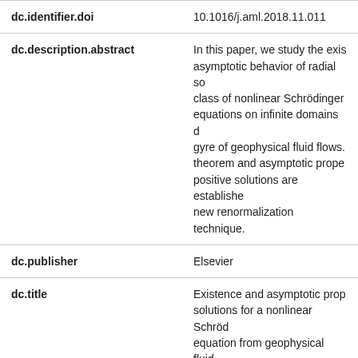| Field | Value |
| --- | --- |
| dc.identifier.doi | 10.1016/j.aml.2018.11.011 |
| dc.description.abstract | In this paper, we study the exis asymptotic behavior of radial so class of nonlinear Schrödinger equations on infinite domains d gyre of geophysical fluid flows. theorem and asymptotic prope positive solutions are establishe new renormalization technique. |
| dc.publisher | Elsevier |
| dc.title | Existence and asymptotic prop solutions for a nonlinear Schröd equation from geophysical fluid |
| dc.type | Journal Article |
| dcterms.source.volume | 90 |
| dcterms.source.startPage | 229 |